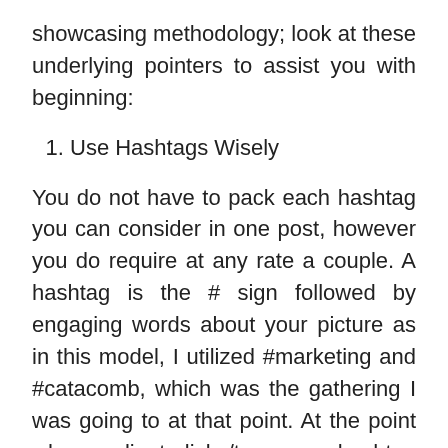showcasing methodology; look at these underlying pointers to assist you with beginning:
1. Use Hashtags Wisely
You do not have to pack each hashtag you can consider in one post, however you do require at any rate a couple. A hashtag is the # sign followed by engaging words about your picture as in this model, I utilized #marketing and #catacomb, which was the gathering I was going to at that point. At the point when a client clicks/taps on a hashtag or types a hashtag into the inquiry take care of, it raises all pictures that utilization that instagram bot. The client can even buy in to keep on following that hashtag. The expectation is the client will see your photograph, head to your profile and most ideal situation, tail you and get drew in with a greater amount of your posts.